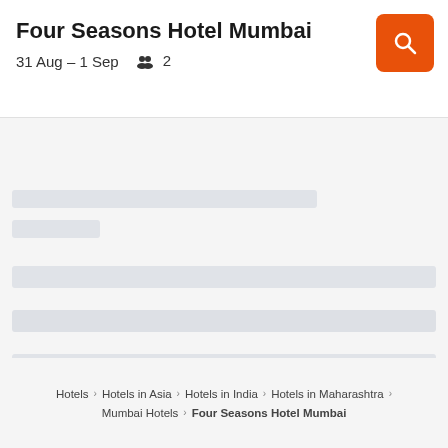Four Seasons Hotel Mumbai
31 Aug – 1 Sep   2
[Figure (screenshot): Loading skeleton placeholder bars showing hotel search results loading state]
Hotels > Hotels in Asia > Hotels in India > Hotels in Maharashtra > Mumbai Hotels > Four Seasons Hotel Mumbai